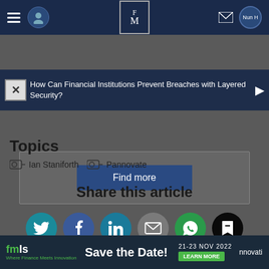[Figure (screenshot): Website navigation bar with hamburger menu, circular user icon, FM logo in center, email icon, and user avatar on dark navy background]
How Can Financial Institutions Prevent Breaches with Layered Security?
Find more
Topics
Ian Staniforth   Pannovate
Share this article
[Figure (other): Row of social sharing icons: Twitter (teal), Facebook (blue), LinkedIn (teal), Email (gray), WhatsApp (green), Bookmark (black)]
[Figure (other): Bottom advertisement bar for fmls event: Save the Date! 21-23 NOV 2022 Where Finance Meets Innovation LEARN MORE]